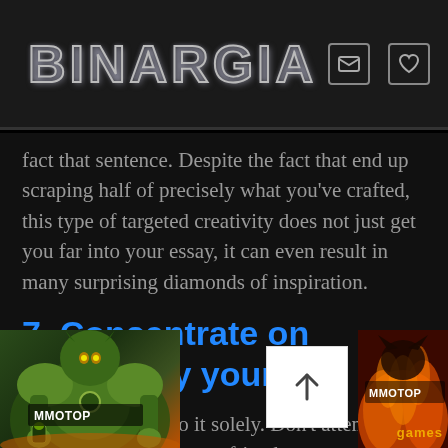BINARGIA
fact that sentence. Despite the fact that end up scraping half of precisely what you've crafted, this type of targeted creativity does not just get you far into your essay, it can even result in many surprising diamonds of inspiration.
7. Consentrate on Writing By yourself
When you write, do it solely. Don't attempt writing even while your friends are over, or perhaps while watching a movie using someone. The actual ng with focus on your company distractions will help you to
[Figure (screenshot): Two gaming advertisement banners at bottom of page, one left showing a fantasy warrior character with MMOTOP label, one right showing fire/dragon with MMOTOP label and 'games' text. A back-to-top arrow button in white overlays the center-right area.]